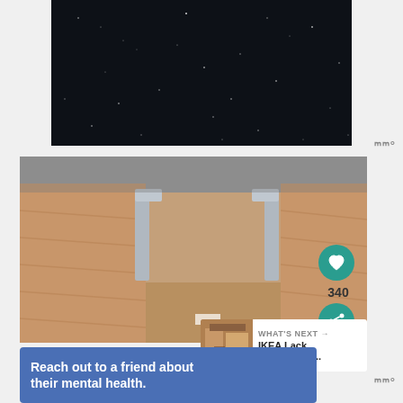[Figure (photo): Dark background with scattered white speckles resembling a night sky or dark granite texture]
[Figure (photo): IKEA Lack table hack project showing plywood and MDF box construction with aluminum corner brackets, viewed from above on concrete ground. Overlaid with a heart/like button showing 340 likes, a share button, and a 'WHAT'S NEXT: IKEA Lack Table Hack:...' thumbnail overlay.]
Reach out to a friend about their mental health.